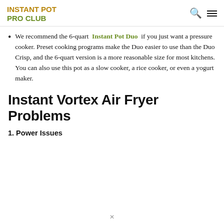INSTANT POT PRO CLUB
We recommend the 6-quart Instant Pot Duo if you just want a pressure cooker. Preset cooking programs make the Duo easier to use than the Duo Crisp, and the 6-quart version is a more reasonable size for most kitchens. You can also use this pot as a slow cooker, a rice cooker, or even a yogurt maker.
Instant Vortex Air Fryer Problems
1. Power Issues